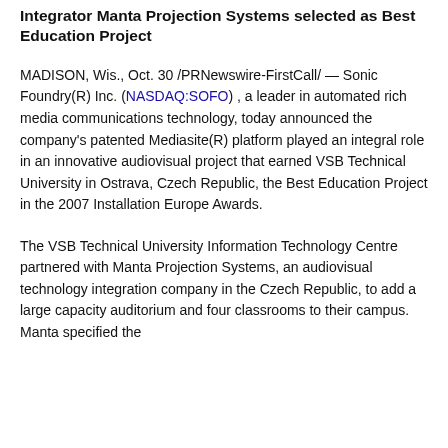Integrator Manta Projection Systems selected as Best Education Project
MADISON, Wis., Oct. 30 /PRNewswire-FirstCall/ — Sonic Foundry(R) Inc. (NASDAQ:SOFO) , a leader in automated rich media communications technology, today announced the company's patented Mediasite(R) platform played an integral role in an innovative audiovisual project that earned VSB Technical University in Ostrava, Czech Republic, the Best Education Project in the 2007 Installation Europe Awards.
The VSB Technical University Information Technology Centre partnered with Manta Projection Systems, an audiovisual technology integration company in the Czech Republic, to add a large capacity auditorium and four classrooms to their campus. Manta specified the